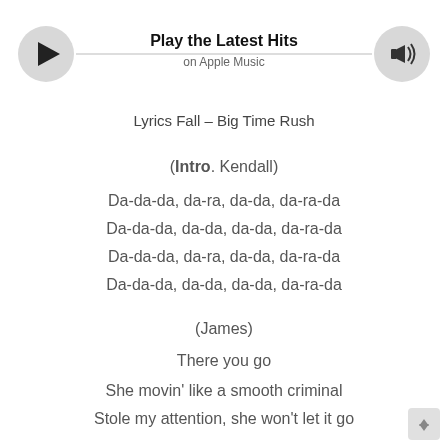[Figure (other): Apple Music player bar with play button, 'Play the Latest Hits' title, 'on Apple Music' subtitle, divider line, and volume icon]
Lyrics Fall – Big Time Rush
(Intro. Kendall)
Da-da-da, da-ra, da-da, da-ra-da
Da-da-da, da-da, da-da, da-ra-da
Da-da-da, da-ra, da-da, da-ra-da
Da-da-da, da-da, da-da, da-ra-da
(James)
There you go
She movin' like a smooth criminal
Stole my attention, she won't let it go
She look me right in the eye
(Kendall)